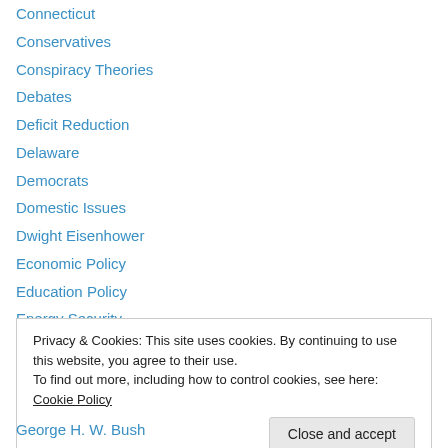Connecticut
Conservatives
Conspiracy Theories
Debates
Deficit Reduction
Delaware
Democrats
Domestic Issues
Dwight Eisenhower
Economic Policy
Education Policy
Energy Security
Enhanced Interrogation
Privacy & Cookies: This site uses cookies. By continuing to use this website, you agree to their use.
To find out more, including how to control cookies, see here: Cookie Policy
George H. W. Bush